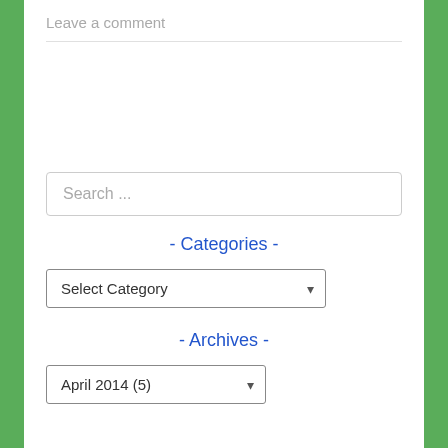Leave a comment
Search ...
- Categories -
Select Category
- Archives -
April 2014 (5)